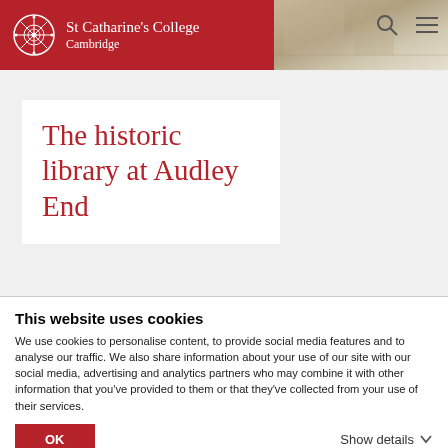[Figure (logo): St Catharine's College Cambridge logo with wheel emblem on dark red header background]
St Catharine's College Cambridge
[Figure (photo): Partial photo of a historic building, visible in top-right corner]
The historic library at Audley End
This website uses cookies
We use cookies to personalise content, to provide social media features and to analyse our traffic. We also share information about your use of our site with our social media, advertising and analytics partners who may combine it with other information that you've provided to them or that they've collected from your use of their services.